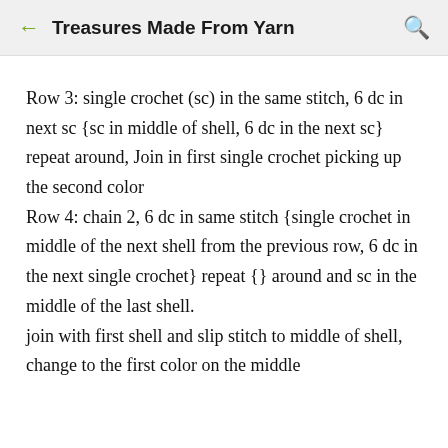← Treasures Made From Yarn 🔍
Row 3: single crochet (sc) in the same stitch, 6 dc in next sc {sc in middle of shell, 6 dc in the next sc} repeat around, Join in first single crochet picking up the second color
Row 4: chain 2, 6 dc in same stitch {single crochet in middle of the next shell from the previous row, 6 dc in the next single crochet} repeat {} around and sc in the middle of the last shell.
join with first shell and slip stitch to middle of shell, change to the first color on the middle